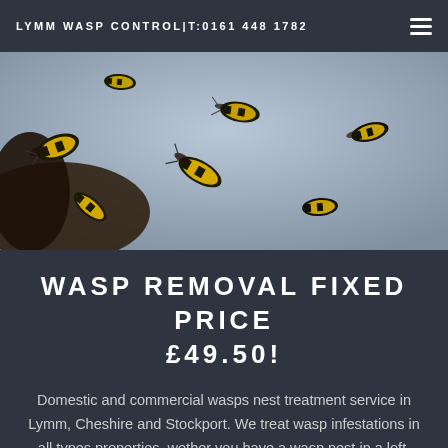LYMM WASP CONTROL|T:0161 448 1782
[Figure (photo): Close-up photo of multiple wasps with yellow and black striped abdomens flying and clustering around a branch or nest, against a light blue-grey background.]
WASP REMOVAL FIXED PRICE £49.50!
Domestic and commercial wasps nest treatment service in Lymm, Cheshire and Stockport. We treat wasp infestations in all types properties, wether you have a wasp nest in a loft, shed or garden, Lymm Wasp Control can treat your problem. We offer a 24/7